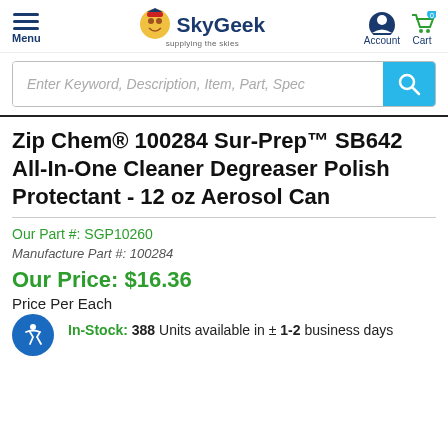SkyGeek — Menu | Account | Cart 0
Enter Keyword, Description, Item, Part, Spec
Zip Chem® 100284 Sur-Prep™ SB642 All-In-One Cleaner Degreaser Polish Protectant - 12 oz Aerosol Can
Our Part #: SGP10260
Manufacture Part #: 100284
Our Price: $16.36
Price Per Each
In-Stock: 388 Units available in ± 1-2 business days